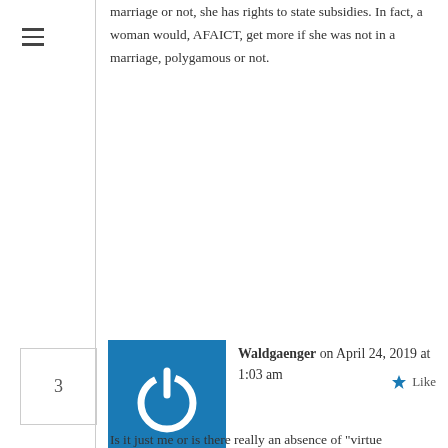marriage or not, she has rights to state subsidies. In fact, a woman would, AFAICT, get more if she was not in a marriage, polygamous or not.
Waldgaenger on April 24, 2019 at 1:03 am
Is it just me or is there really an absence of "virtue signalers", SWJs, aged thespian harridans, fading pop stars etc holding vigils, laying flowers outside the Sri Lankan Embassy.
I don't do twitter or FB so cannot tell what has been happening there but it seems to me that you don't score enough snowflake brownie points by showing solidarity with massacred Christians.